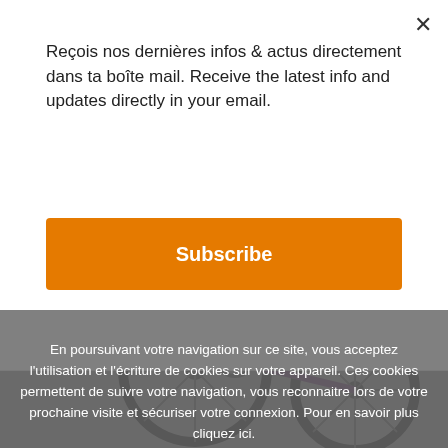Reçois nos dernières infos & actus directement dans ta boîte mail. Receive the latest info and updates directly in your email.
Subscribe
[Figure (photo): A purple/dark children's or youth bicycle photographed from the side on a grey background, showing handlebars, seat, frame, and wheels.]
En poursuivant votre navigation sur ce site, vous acceptez l'utilisation et l'écriture de cookies sur votre appareil. Ces cookies permettent de suivre votre navigation, vous reconnaitre lors de votre prochaine visite et sécuriser votre connexion. Pour en savoir plus cliquez ici.
close